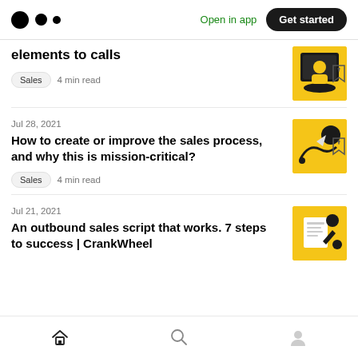Medium logo | Open in app | Get started
elements to calls
Sales · 4 min read
Jul 28, 2021
How to create or improve the sales process, and why this is mission-critical?
Sales · 4 min read
Jul 21, 2021
An outbound sales script that works. 7 steps to success | CrankWheel
Home | Search | Profile